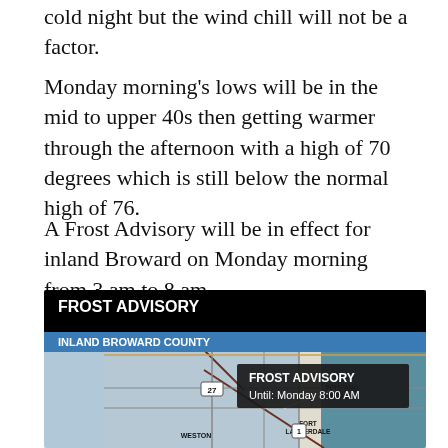cold night but the wind chill will not be a factor.
Monday morning's lows will be in the mid to upper 40s then getting warmer through the afternoon with a high of 70 degrees which is still below the normal high of 76.
A Frost Advisory will be in effect for inland Broward on Monday morning from 3 am to 8 am.
[Figure (map): Weather map showing Frost Advisory for Inland Broward County with overlay text 'FROST ADVISORY Until: Monday 8:00 AM'. Map displays coastal South Florida including Pompano Beach, Fort Lauderdale, and Weston. Blue shaded area indicates inland Broward County under the frost advisory. Ocean shown on the right in teal/blue.]